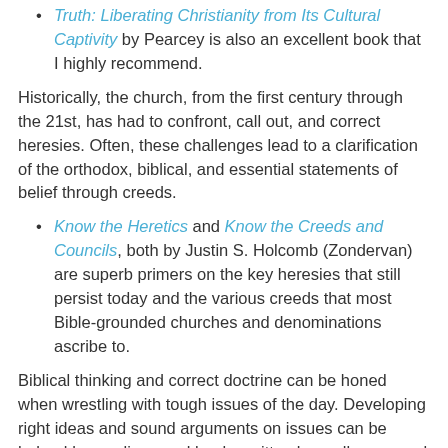Truth: Liberating Christianity from Its Cultural Captivity by Pearcey is also an excellent book that I highly recommend.
Historically, the church, from the first century through the 21st, has had to confront, call out, and correct heresies. Often, these challenges lead to a clarification of the orthodox, biblical, and essential statements of belief through creeds.
Know the Heretics and Know the Creeds and Councils, both by Justin S. Holcomb (Zondervan) are superb primers on the key heresies that still persist today and the various creeds that most Bible-grounded churches and denominations ascribe to.
Biblical thinking and correct doctrine can be honed when wrestling with tough issues of the day. Developing right ideas and sound arguments on issues can be helped by reading good books written by godly men and women addressing single topics.
What Does the Bible Really Teach about